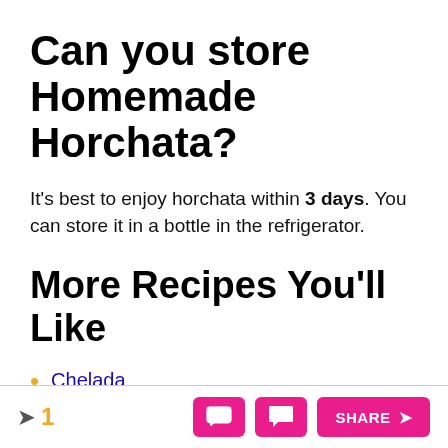Can you store Homemade Horchata?
It's best to enjoy horchata within 3 days. You can store it in a bottle in the refrigerator.
More Recipes You'll Like
Chelada
Paloma Cocktail
1  SHARE